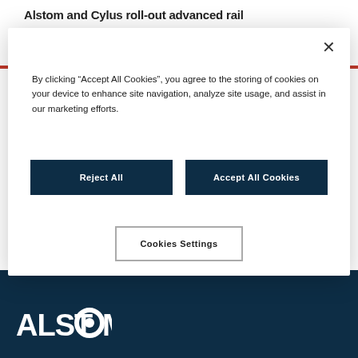Alstom and Cylus roll-out advanced rail
[Figure (screenshot): Cookie consent modal dialog with 'Reject All', 'Accept All Cookies', and 'Cookies Settings' buttons on a white card with drop shadow overlay.]
By clicking “Accept All Cookies”, you agree to the storing of cookies on your device to enhance site navigation, analyze site usage, and assist in our marketing efforts.
I am
[Figure (logo): Alstom logo in white on dark navy background]